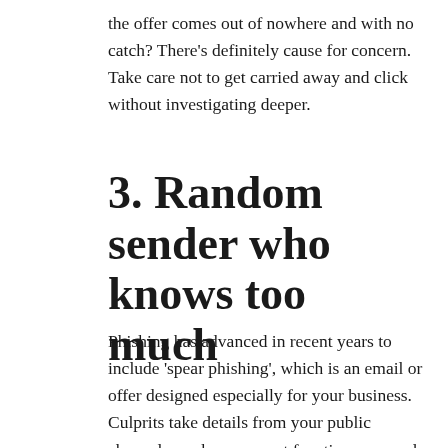the offer comes out of nowhere and with no catch? There's definitely cause for concern. Take care not to get carried away and click without investigating deeper.
3. Random sender who knows too much
Phishing has advanced in recent years to include 'spear phishing', which is an email or offer designed especially for your business. Culprits take details from your public channels, such as a recent function or award, and then use it against you. The only clues? The sender is unknown – they weren't at the event or involved in any way. Take a moment to see if their